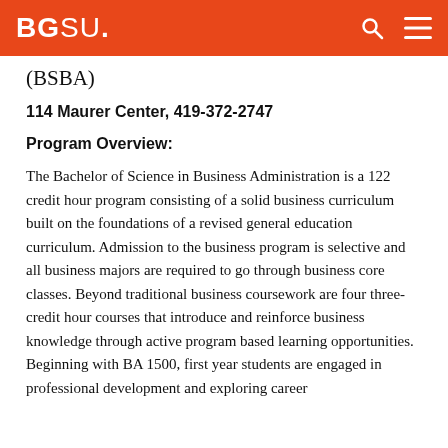BGSU.
(BSBA)
114 Maurer Center, 419-372-2747
Program Overview:
The Bachelor of Science in Business Administration is a 122 credit hour program consisting of a solid business curriculum built on the foundations of a revised general education curriculum. Admission to the business program is selective and all business majors are required to go through business core classes. Beyond traditional business coursework are four three-credit hour courses that introduce and reinforce business knowledge through active program based learning opportunities. Beginning with BA 1500, first year students are engaged in professional development and exploring career